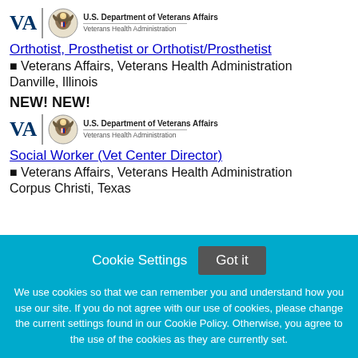[Figure (logo): U.S. Department of Veterans Affairs / Veterans Health Administration logo with VA text, eagle seal, department name and VHA label]
Orthotist, Prosthetist or Orthotist/Prosthetist
– Veterans Affairs, Veterans Health Administration
Danville, Illinois
NEW! NEW!
[Figure (logo): U.S. Department of Veterans Affairs / Veterans Health Administration logo with VA text, eagle seal, department name and VHA label]
Social Worker (Vet Center Director)
– Veterans Affairs, Veterans Health Administration
Corpus Christi, Texas
Cookie Settings  Got it
We use cookies so that we can remember you and understand how you use our site. If you do not agree with our use of cookies, please change the current settings found in our Cookie Policy. Otherwise, you agree to the use of the cookies as they are currently set.